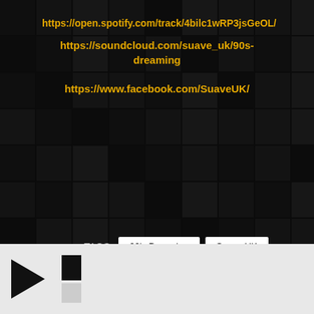[Figure (screenshot): Dark mosaic background of hip-hop album covers]
https://open.spotify.com/track/4bilc1wRP3jsGeOL/
https://soundcloud.com/suave_uk/90s-dreaming
https://www.facebook.com/SuaveUK/
TAGS   90's Dreaming   Suave UK
LEAVE A REPLY
Your email address will not be published. Required fields are marked *
COMMENT *
[Figure (screenshot): Media player bar with play button and progress indicator at bottom]